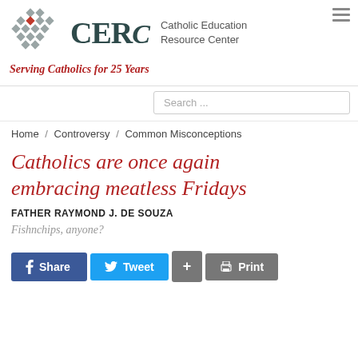[Figure (logo): CERC Catholic Education Resource Center logo with diamond grid pattern in grey and red]
Serving Catholics for 25 Years
Search ...
Home / Controversy / Common Misconceptions
Catholics are once again embracing meatless Fridays
FATHER RAYMOND J. DE SOUZA
Fishnchips, anyone?
Share  Tweet  +  Print